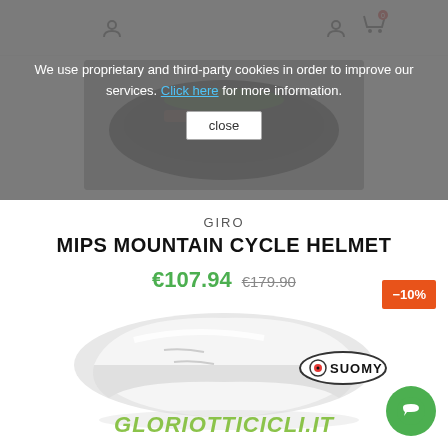We use proprietary and third-party cookies in order to improve our services. Click here for more information. close
GIRO
MIPS MOUNTAIN CYCLE HELMET
€107.94  €179.90
-10%
[Figure (photo): White aerodynamic cycling helmet product photo]
[Figure (logo): Suomy brand logo in oval shape]
GLORIOTTICICLI.IT